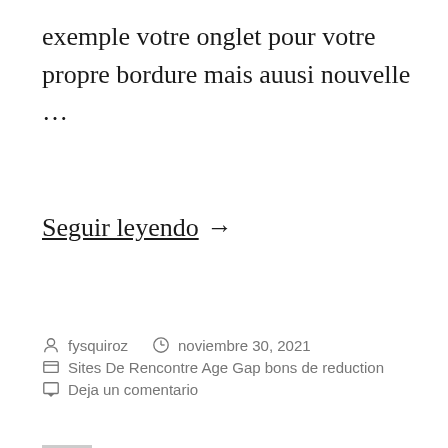exemple votre onglet pour votre propre bordure mais auusi nouvelle …
Seguir leyendo →
fysquiroz   noviembre 30, 2021   Sites De Rencontre Age Gap bons de reduction   Deja un comentario